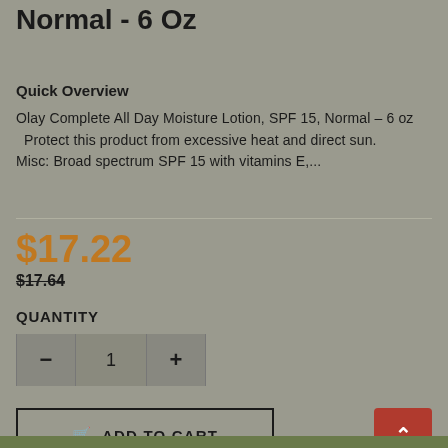Normal - 6 Oz
Quick Overview
Olay Complete All Day Moisture Lotion, SPF 15, Normal – 6 oz   Protect this product from excessive heat and direct sun. Misc: Broad spectrum SPF 15 with vitamins E,...
$17.22
$17.64
QUANTITY
ADD TO CART